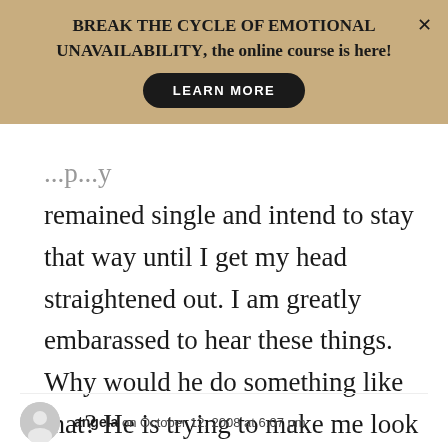BREAK THE CYCLE OF EMOTIONAL UNAVAILABILITY, the online course is here! LEARN MORE
remained single and intend to stay that way until I get my head straightened out. I am greatly embarassed to hear these things. Why would he do something like that? He is trying to make me look like a fool but WHY?
angela on October 12, 2008 at 6:07 pm